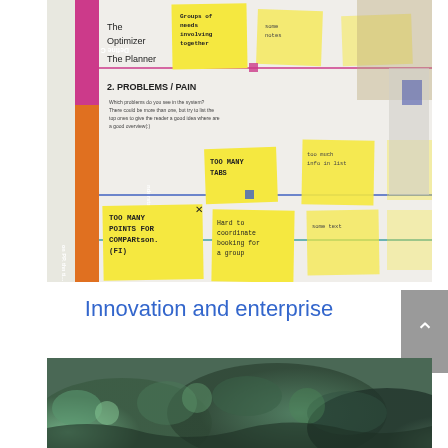[Figure (photo): A whiteboard or poster board covered in sticky notes and design thinking frameworks. Visible text includes 'Define C', 'The Optimizer', 'The Planner', '2. PROBLEMS / PAIN', 'TOO MANY POINTS FOR COMPARISON (FI)', 'TOO MANY TABS', 'Hard to coordinate booking for a group'. Left side has pink and orange vertical strips. Board shows customer journey mapping or design workshop output.]
Innovation and enterprise
[Figure (photo): A close-up photo of green moss or lichen growing on rocks, with a natural outdoor texture.]